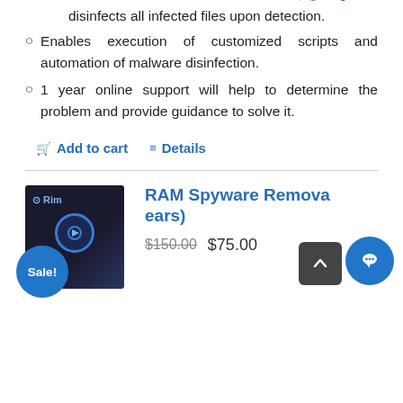disinfects all infected files upon detection.
Enables execution of customized scripts and automation of malware disinfection.
1 year online support will help to determine the problem and provide guidance to solve it.
Add to cart   Details
RAM Spyware Removal (2 Years)
$150.00  $75.00